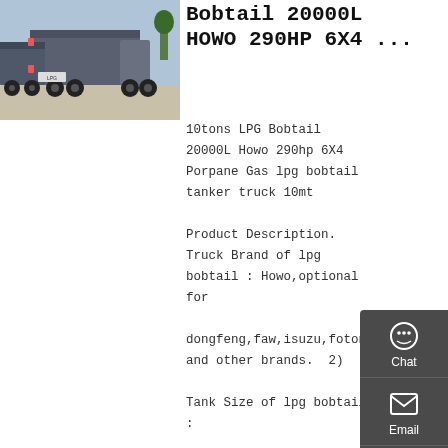[Figure (photo): Rear view of LPG bobtail tanker trucks (HOWO 6x4) parked outdoors]
Bobtail 20000L HOWO 290HP 6X4 ...
10tons LPG Bobtail 20000L Howo 290hp 6X4 Porpane Gas lpg bobtail tanker truck 10mt  Product Description. Truck Brand of lpg bobtail : Howo,optional for dongfeng,faw,isuzu,foton and other brands.  2) Tank Size of lpg bobtail : 20,000liters,20000L,20cbm